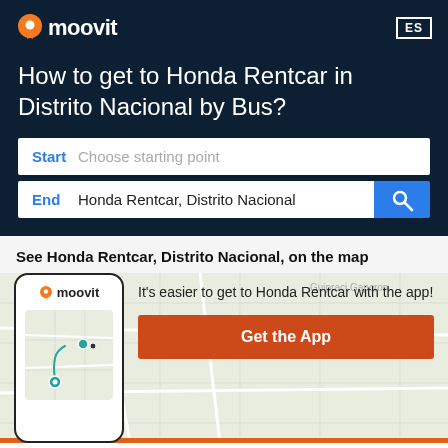[Figure (logo): Moovit logo with orange location pin icon and white text on dark navy background]
ES
How to get to Honda Rentcar in Distrito Nacional by Bus?
Start   Choose starting point
End   Honda Rentcar, Distrito Nacional
See Honda Rentcar, Distrito Nacional, on the map
[Figure (screenshot): Phone mockup showing Moovit app with map and route icons]
It's easier to get to Honda Rentcar with the app!
Get the App